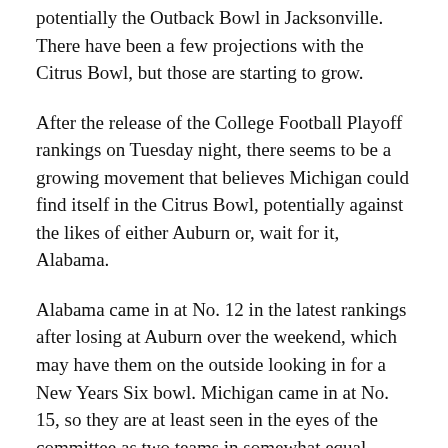potentially the Outback Bowl in Jacksonville. There have been a few projections with the Citrus Bowl, but those are starting to grow.
After the release of the College Football Playoff rankings on Tuesday night, there seems to be a growing movement that believes Michigan could find itself in the Citrus Bowl, potentially against the likes of either Auburn or, wait for it, Alabama.
Alabama came in at No. 12 in the latest rankings after losing at Auburn over the weekend, which may have them on the outside looking in for a New Years Six bowl. Michigan came in at No. 15, so they are at least seen in the eyes of the committee as two teams in somewhat equal standing.